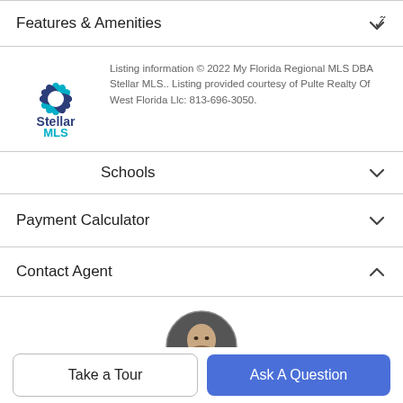Features & Amenities
[Figure (logo): Stellar MLS logo with flower/star graphic and text 'Stellar MLS']
Listing information © 2022 My Florida Regional MLS DBA Stellar MLS.. Listing provided courtesy of Pulte Realty Of West Florida Llc: 813-696-3050.
Schools
Payment Calculator
Contact Agent
[Figure (photo): Circular profile photo of a man with dark hair and beard]